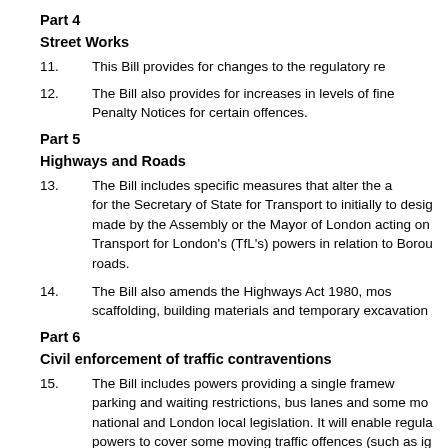Part 4
Street Works
11.      This Bill provides for changes to the regulatory re...
12.      The Bill also provides for increases in levels of fine... Penalty Notices for certain offences.
Part 5
Highways and Roads
13.      The Bill includes specific measures that alter the a... for the Secretary of State for Transport to initially to desig... made by the Assembly or the Mayor of London acting on... Transport for London's (TfL's) powers in relation to Borou... roads.
14.      The Bill also amends the Highways Act 1980, mos... scaffolding, building materials and temporary excavation...
Part 6
Civil enforcement of traffic contraventions
15.      The Bill includes powers providing a single framew... parking and waiting restrictions, bus lanes and some mo... national and London local legislation. It will enable regula... powers to cover some moving traffic offences (such as ig... evidence, and additional powers in respect of parking an...